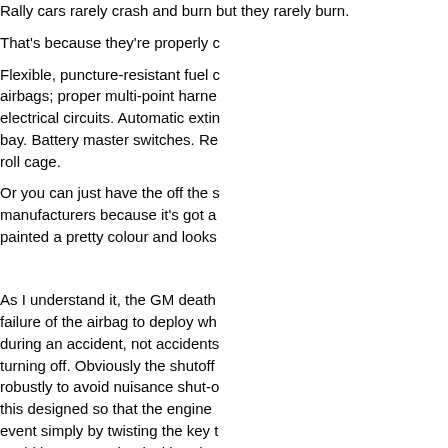Rally cars rarely crash and burn but they rarely burn.
That's because they're properly c…
Flexible, puncture-resistant fuel c… airbags; proper multi-point harne… electrical circuits. Automatic extin… bay. Battery master switches. Re… roll cage.
Or you can just have the off the s… manufacturers because it's got a… painted a pretty colour and looks…
As I understand it, the GM death… failure of the airbag to deploy wh… during an accident, not accidents… turning off. Obviously the shutoff… robustly to avoid nuisance shut-o… this designed so that the engine… event simply by twisting the key t… could have a mechanical breaker… mechanically as the key turns. O… won't restart unless the compute… diagnostics.